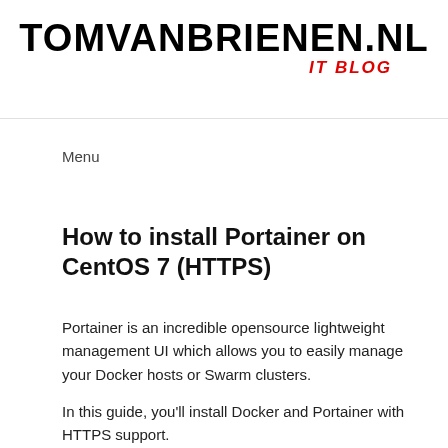TOMVANBRIENEN.NL IT BLOG
Menu
How to install Portainer on CentOS 7 (HTTPS)
Portainer is an incredible opensource lightweight management UI which allows you to easily manage your Docker hosts or Swarm clusters.
In this guide, you'll install Docker and Portainer with HTTPS support.